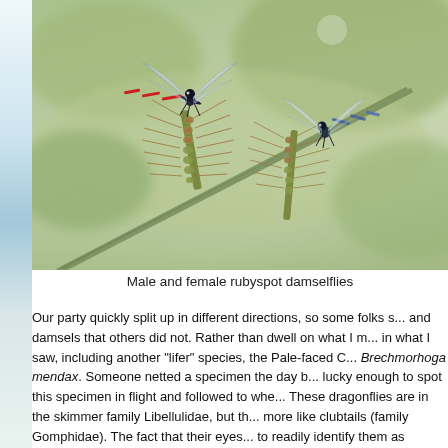[Figure (photo): Photograph of two rubyspot damselflies (male and female) perched on a grass seed head with bristle-like awns, with a blurred green background.]
Male and female rubyspot damselflies
Our party quickly split up in different directions, so some folks s... and damsels that others did not. Rather than dwell on what I m... in what I saw, including another "lifer" species, the Pale-faced C... Brechmorhoga mendax. Someone netted a specimen the day b... lucky enough to spot this specimen in flight and followed to whe... These dragonflies are in the skimmer family Libellulidae, but th... more like clubtails (family Gomphidae). The fact that their eyes... to readily identify them as skimmers.